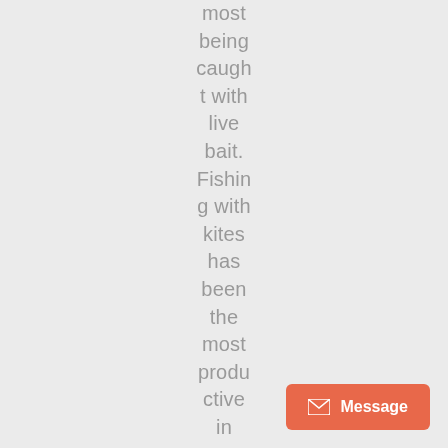most being caught with live bait. Fishing with kites has been the most productive in water from 80' out to over 300'. And
[Figure (other): Orange 'Message' button with envelope icon in bottom-right corner]